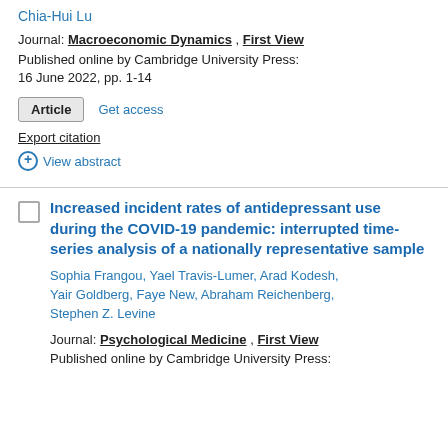Chia-Hui Lu
Journal: Macroeconomic Dynamics , First View
Published online by Cambridge University Press: 16 June 2022, pp. 1-14
Article   Get access
Export citation
⊕ View abstract
Increased incident rates of antidepressant use during the COVID-19 pandemic: interrupted time-series analysis of a nationally representative sample
Sophia Frangou, Yael Travis-Lumer, Arad Kodesh, Yair Goldberg, Faye New, Abraham Reichenberg, Stephen Z. Levine
Journal: Psychological Medicine , First View
Published online by Cambridge University Press: